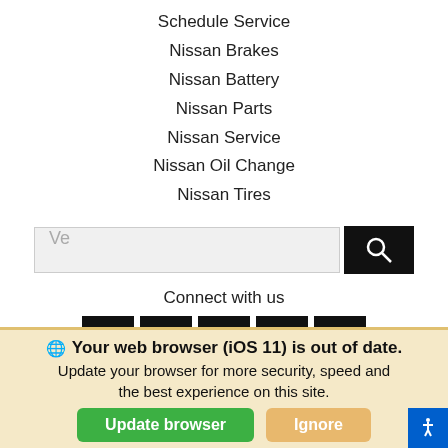Schedule Service
Nissan Brakes
Nissan Battery
Nissan Parts
Nissan Service
Nissan Oil Change
Nissan Tires
[Figure (screenshot): Search bar with text 'Ve' and black search button with magnifying glass icon]
Connect with us
[Figure (infographic): Social media icons row: Facebook, Twitter, Instagram, Yelp, YouTube — all in black square buttons]
Websites Powered By
We use cookies to optimize our website and our service.
Cookie Policy   Privacy Statement
Your web browser (iOS 11) is out of date. Update your browser for more security, speed and the best experience on this site.
Update browser   Ignore